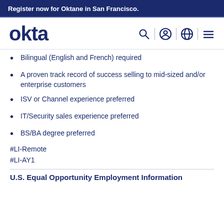Register now for Oktane in San Francisco.
[Figure (logo): Okta logo with navigation icons (search, user, globe, menu)]
Bilingual (English and French) required
A proven track record of success selling to mid-sized and/or enterprise customers
ISV or Channel experience preferred
IT/Security sales experience preferred
BS/BA degree preferred
#LI-Remote
#LI-AY1
U.S. Equal Opportunity Employment Information